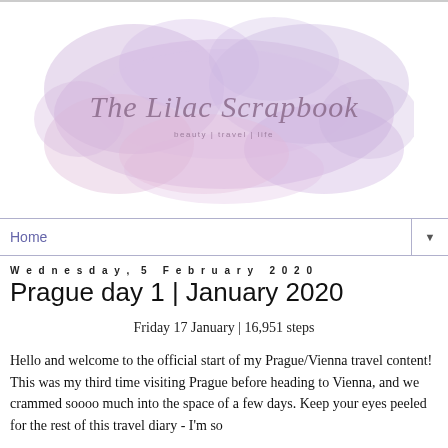[Figure (logo): The Lilac Scrapbook logo — cursive script over a watercolor purple/lavender cloud blob, with subtitle 'beauty | travel | life']
Home ▼
Wednesday, 5 February 2020
Prague day 1 | January 2020
Friday 17 January | 16,951 steps
Hello and welcome to the official start of my Prague/Vienna travel content! This was my third time visiting Prague before heading to Vienna, and we crammed soooo much into the space of a few days. Keep your eyes peeled for the rest of this travel diary - I'm so